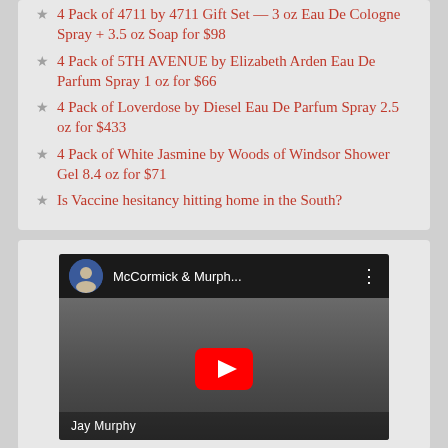4 Pack of 4711 by 4711 Gift Set — 3 oz Eau De Cologne Spray + 3.5 oz Soap for $98
4 Pack of 5TH AVENUE by Elizabeth Arden Eau De Parfum Spray 1 oz for $66
4 Pack of Loverdose by Diesel Eau De Parfum Spray 2.5 oz for $433
4 Pack of White Jasmine by Woods of Windsor Shower Gel 8.4 oz for $71
Is Vaccine hesitancy hitting home in the South?
[Figure (screenshot): YouTube video thumbnail showing McCormick & Murph... with a man named Jay Murphy, featuring a red play button overlay and the channel avatar]